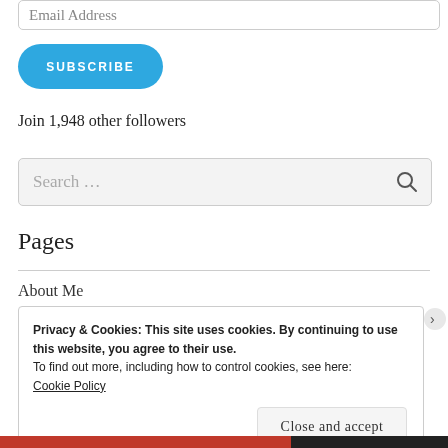Email Address
SUBSCRIBE
Join 1,948 other followers
Search ...
Pages
About Me
Privacy & Cookies: This site uses cookies. By continuing to use this website, you agree to their use.
To find out more, including how to control cookies, see here:
Cookie Policy
Close and accept